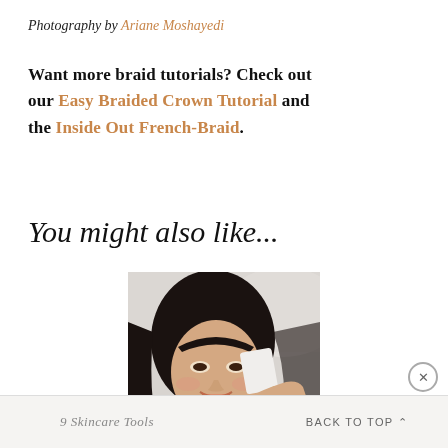Photography by Ariane Moshayedi
Want more braid tutorials? Check out our Easy Braided Crown Tutorial and the Inside Out French-Braid.
You might also like...
[Figure (photo): A smiling woman with dark hair holding a small white card near her face, wearing a white top, photographed in a soft-focus indoor setting.]
9 Skincare Tools   BACK TO TOP ^